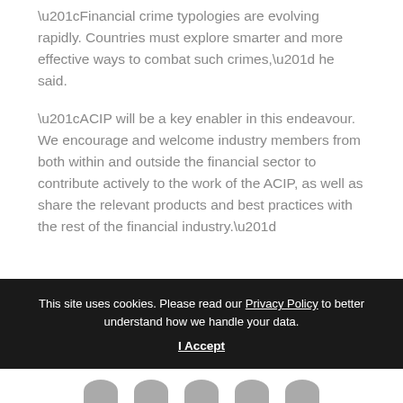“Financial crime typologies are evolving rapidly. Countries must explore smarter and more effective ways to combat such crimes,” he said.
“ACIP will be a key enabler in this endeavour. We encourage and welcome industry members from both within and outside the financial sector to contribute actively to the work of the ACIP, as well as share the relevant products and best practices with the rest of the financial industry.”
This site uses cookies. Please read our Privacy Policy to better understand how we handle your data.
I Accept